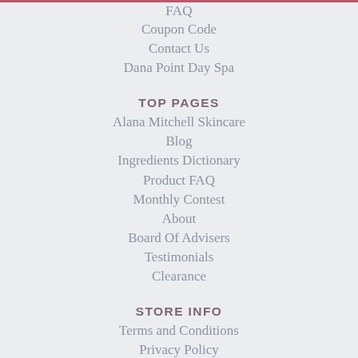FAQ
Coupon Code
Contact Us
Dana Point Day Spa
TOP PAGES
Alana Mitchell Skincare
Blog
Ingredients Dictionary
Product FAQ
Monthly Contest
About
Board Of Advisers
Testimonials
Clearance
STORE INFO
Terms and Conditions
Privacy Policy
Check Order Status
Site Map